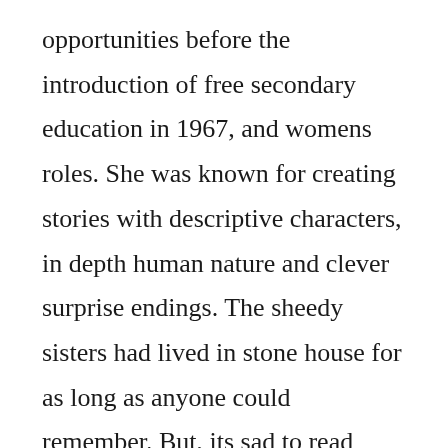opportunities before the introduction of free secondary education in 1967, and womens roles. She was known for creating stories with descriptive characters, in depth human nature and clever surprise endings. The sheedy sisters had lived in stone house for as long as anyone could remember. But, its sad to read such a beautiful book by an author who is no longer with us. Free download or read online a week in winter pdf epub book. Maeve binchy was married to her husband, gordon snell, for thirtyfive. A week in winter is a novel by the irish author maeve binchy